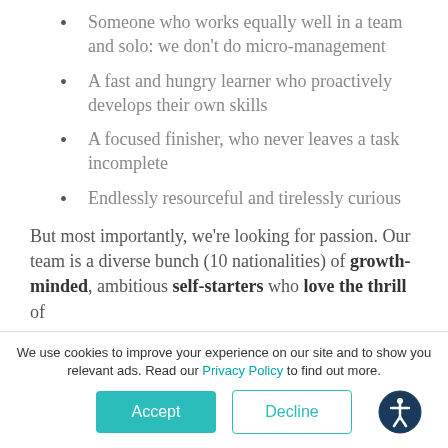Someone who works equally well in a team and solo: we don't do micro-management
A fast and hungry learner who proactively develops their own skills
A focused finisher, who never leaves a task incomplete
Endlessly resourceful and tirelessly curious
But most importantly, we're looking for passion. Our team is a diverse bunch (10 nationalities) of growth-minded, ambitious self-starters who love the thrill of
We use cookies to improve your experience on our site and to show you relevant ads. Read our Privacy Policy to find out more.